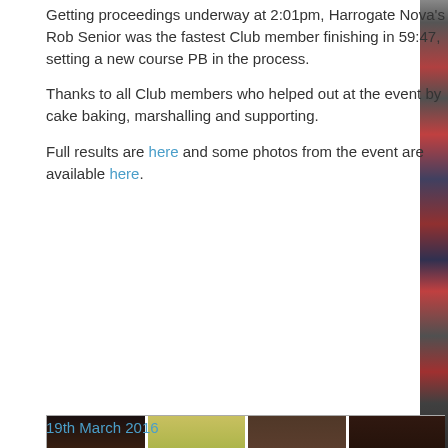Getting proceedings underway at 2:01pm, Harrogate Nova's Rob Senior was the fastest Club member finishing in 59:47, setting a new course PB in the process.
Thanks to all Club members who helped out at the event by cake baking, marshalling and supporting.
Full results are here and some photos from the event are available here.
[Figure (photo): A collage of four photos showing various cakes and baked goods on plates and dishes at a club event, including chocolate cakes, brownies, cupcakes with decorations, and other baked treats.]
19th March 2016